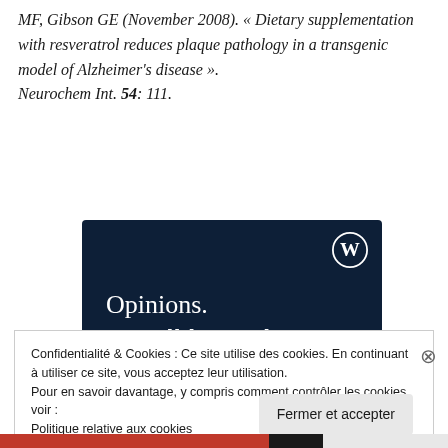MF, Gibson GE (November 2008). « Dietary supplementation with resveratrol reduces plaque pathology in a transgenic model of Alzheimer's disease ». Neurochem Int. 54: 111.
[Figure (illustration): WordPress advertisement banner with dark navy background showing 'Opinions. We all have them!' text, WordPress logo, pink button and light circle decorative elements.]
Confidentialité & Cookies : Ce site utilise des cookies. En continuant à utiliser ce site, vous acceptez leur utilisation.
Pour en savoir davantage, y compris comment contrôler les cookies, voir :
Politique relative aux cookies
Fermer et accepter